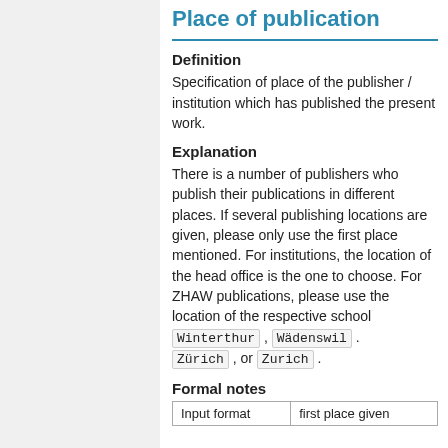Place of publication
Definition
Specification of place of the publisher / institution which has published the present work.
Explanation
There is a number of publishers who publish their publications in different places. If several publishing locations are given, please only use the first place mentioned. For institutions, the location of the head office is the one to choose. For ZHAW publications, please use the location of the respective school Winterthur , Wädenswil . Zürich , or Zurich .
Formal notes
| Input format | first place given |
| --- | --- |